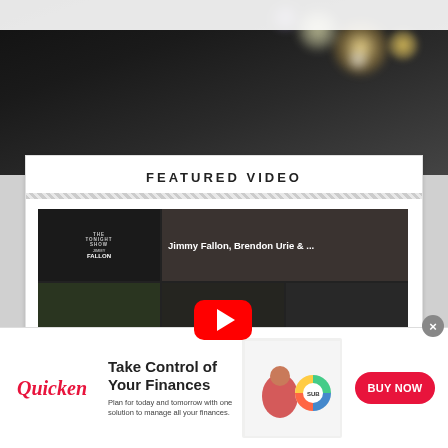[Figure (screenshot): Dark bokeh background at top of page with stage lights effect]
FEATURED VIDEO
[Figure (screenshot): YouTube video thumbnail grid showing Jimmy Fallon, Brendon Urie & others from The Tonight Show with a red YouTube play button overlay]
[Figure (infographic): Quicken advertisement banner: Take Control of Your Finances - Plan for today and tomorrow with one solution to manage all your finances. BUY NOW button.]